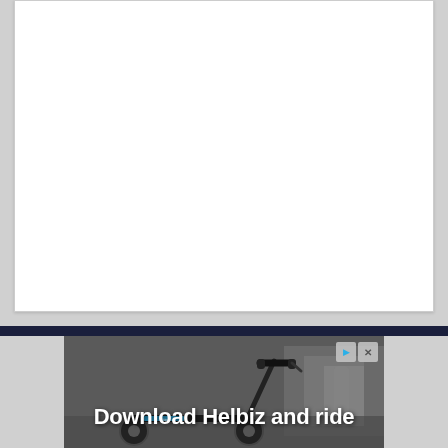[Figure (other): White blank card/frame on a light grey background, representing an empty content area.]
[Figure (photo): Advertisement banner showing an electric scooter (Helbiz/Skip branded) with handlebars visible in the foreground against a blurred urban background. Bold white text reads 'Download Helbiz and ride'. Small ad controls (play and close) are visible in the top right corner.]